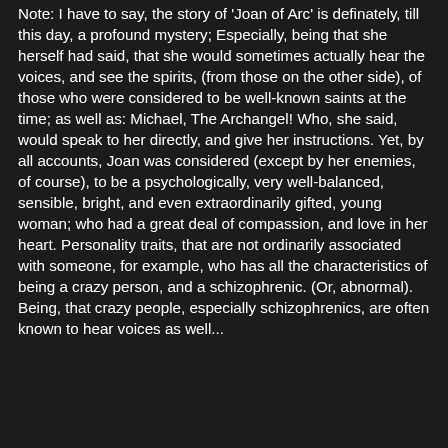Note: I have to say, the story of 'Joan of Arc' is definately, till this day, a profound mystery; Especially, being that she herself had said, that she would sometimes actually hear the voices, and see the spirits, (from those on the other side), of those who were considered to be well-known saints at the time; as well as: Michael, The Archangel! Who, she said, would speak to her directly, and give her instructions. Yet, by all accounts, Joan was considered (except by her enemies, of course), to be a psychologically, very well-balanced, sensible, bright, and even extraordinarily gifted, young woman; who had a great deal of compassion, and love in her heart. Personality traits, that are not ordinarily associated with someone, for example, who has all the characteristics of being a crazy person, and a schizophrenic. (Or, abnormal). Being, that crazy people, especially schizophrenics, are often known to hear voices as well...